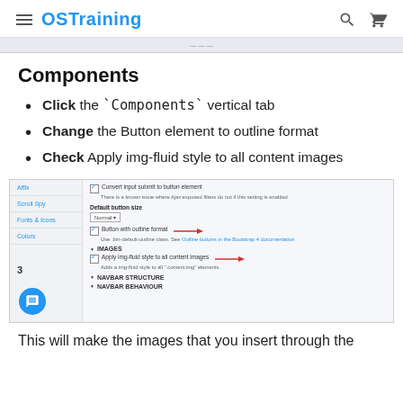OSTraining
Components
Click the `Components` vertical tab
Change the Button element to outline format
Check Apply img-fluid style to all content images
[Figure (screenshot): Screenshot of OSTraining admin interface showing Components tab with Button outline format and Apply img-fluid style to all content images checkboxes checked, with red arrows pointing to the relevant options.]
This will make the images that you insert through the